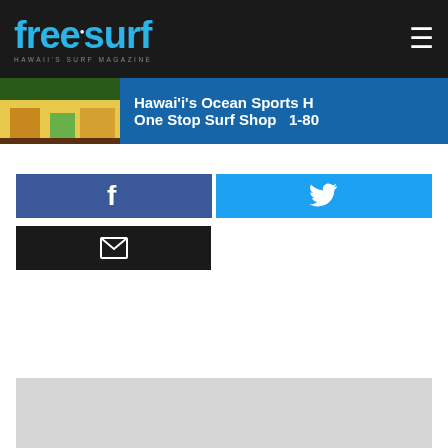freesurf — Hawaii's Surf Magazine
[Figure (photo): Banner advertisement showing a colorful yellow surf shop building with text 'Hawai'i's Ocean Sports H... One Stop Surf Shop 1-80...']
[Figure (infographic): Facebook share button (dark blue) and Twitter share button (light blue) side by side]
[Figure (infographic): Email share button (black)]
[Figure (other): Gray placeholder/ad block at bottom of page]